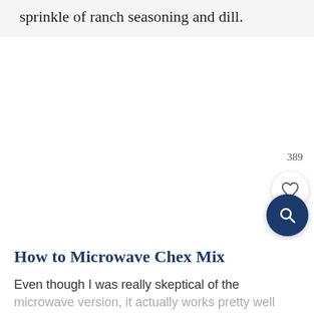sprinkle of ranch seasoning and dill.
How to Microwave Chex Mix
Even though I was really skeptical of the microwave version, it actually works pretty well
389